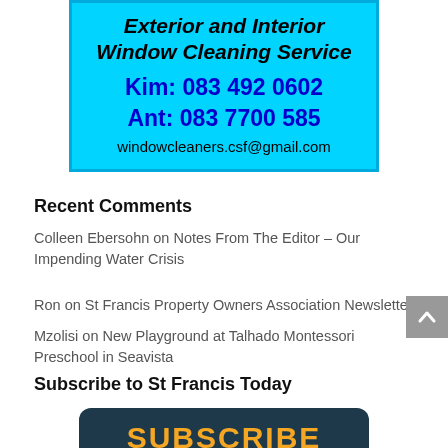[Figure (other): Advertisement for Exterior and Interior Window Cleaning Service. Contact: Kim: 083 492 0602, Ant: 083 7700 585, windowcleaners.csf@gmail.com. Cyan/blue background with black and dark blue bold italic text.]
Recent Comments
Colleen Ebersohn on Notes From The Editor – Our Impending Water Crisis
Ron on St Francis Property Owners Association Newsletter
Mzolisi on New Playground at Talhado Montessori Preschool in Seavista
Subscribe to St Francis Today
[Figure (other): Subscribe button with dark teal/navy background and orange bold text reading SUBSCRIBE]